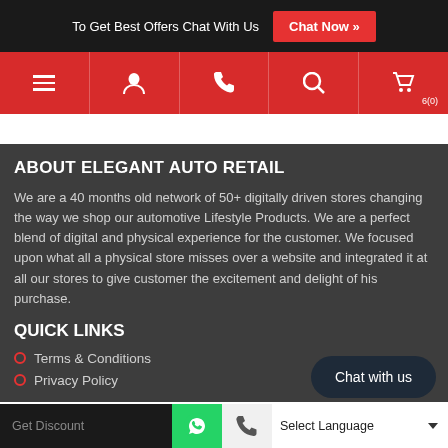To Get Best Offers Chat With Us  Chat Now »
[Figure (screenshot): Navigation bar with hamburger menu, user, phone, search, and cart icons on red background]
ABOUT ELEGANT AUTO RETAIL
We are a 40 months old network of 50+ digitally driven stores changing the way we shop our automotive Lifestyle Products. We are a perfect blend of digital and physical experience for the customer. We focused upon what all a physical store misses over a website and integrated it at all our stores to give customer the excitement and delight of his purchase.
QUICK LINKS
Terms & Conditions
Privacy Policy
Get Discount  [WhatsApp]  [Call]  Select Language